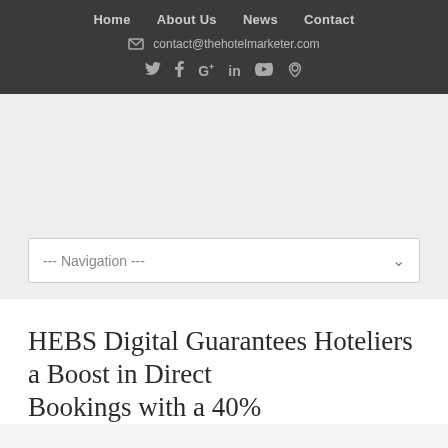Home | About Us | News | Contact | contact@thehotelmarketer.com
--- Navigation ---
HEBS Digital Guarantees Hoteliers a Boost in Direct Bookings with a 40%...